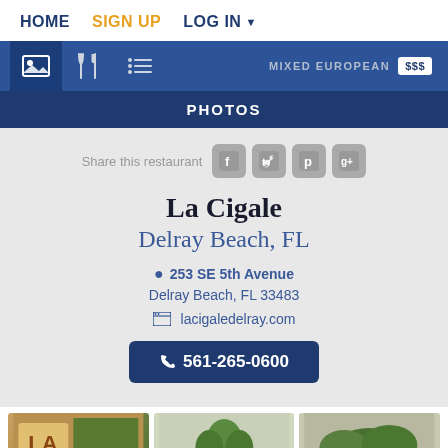HOME  SIGN UP  LOG IN
[Figure (screenshot): Navigation tab bar with photo icon (active), fork-and-knife icon, list icon, and MIXED EUROPEAN $$$]
PHOTOS
Share this restaurant
La Cigale
Delray Beach, FL
253 SE 5th Avenue
Delray Beach, FL 33483
lacigaledelray.com
561-265-0600
[Figure (photo): Bottom photo strip showing three restaurant photos including a sign with 'La' visible]